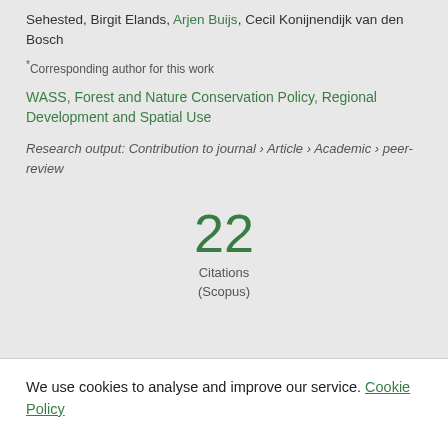Sehested, Birgit Elands, Arjen Buijs, Cecil Konijnendijk van den Bosch
*Corresponding author for this work
WASS, Forest and Nature Conservation Policy, Regional Development and Spatial Use
Research output: Contribution to journal › Article › Academic › peer-review
22 Citations (Scopus)
We use cookies to analyse and improve our service. Cookie Policy